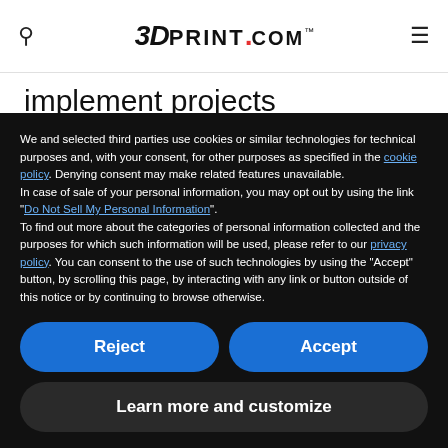3DPRINT.COM™
implement projects recommended by IAC or another similar assessor. The IAC program, established in 1976, works via 31 assessment centers — each at a participating U.S. public university — that release no-
We and selected third parties use cookies or similar technologies for technical purposes and, with your consent, for other purposes as specified in the cookie policy. Denying consent may make related features unavailable.
In case of sale of your personal information, you may opt out by using the link "Do Not Sell My Personal Information".
To find out more about the categories of personal information collected and the purposes for which such information will be used, please refer to our privacy policy. You can consent to the use of such technologies by using the "Accept" button, by scrolling this page, by interacting with any link or button outside of this notice or by continuing to browse otherwise.
Reject
Accept
Learn more and customize